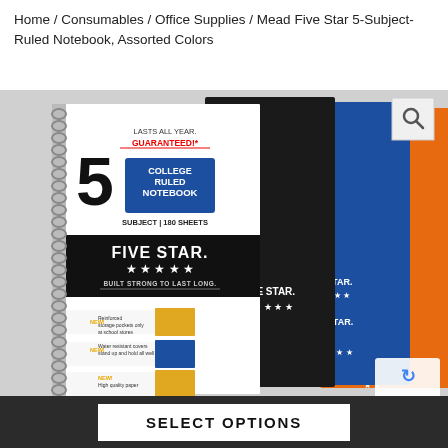Home / Consumables / Office Supplies / Mead Five Star 5-Subject-Ruled Notebook, Assorted Colors
[Figure (photo): Product photo of Mead Five Star 5-Subject College Ruled Notebook in assorted colors (white/black front, black, blue, orange variants) with spiral binding. Shows features: reinforced storage pockets, water resistant covers, high quality paper. Labeled 180 sheets, 5 SUBJECT, 9.5 in x 6 in / 24.1 cm x 15.2 cm. Includes magnify icon in top right corner and reCAPTCHA badge in bottom right.]
SELECT OPTIONS